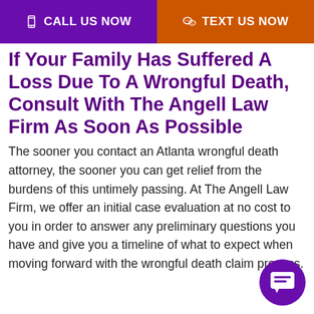CALL US NOW  |  TEXT US NOW
If Your Family Has Suffered A Loss Due To A Wrongful Death, Consult With The Angell Law Firm As Soon As Possible
The sooner you contact an Atlanta wrongful death attorney, the sooner you can get relief from the burdens of this untimely passing. At The Angell Law Firm, we offer an initial case evaluation at no cost to you in order to answer any preliminary questions you have and give you a timeline of what to expect when moving forward with the wrongful death claim process.